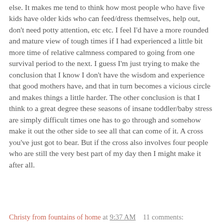else. It makes me tend to think how most people who have five kids have older kids who can feed/dress themselves, help out, don't need potty attention, etc etc. I feel I'd have a more rounded and mature view of tough times if I had experienced a little bit more time of relative calmness compared to going from one survival period to the next. I guess I'm just trying to make the conclusion that I know I don't have the wisdom and experience that good mothers have, and that in turn becomes a vicious circle and makes things a little harder. The other conclusion is that I think to a great degree these seasons of insane toddler/baby stress are simply difficult times one has to go through and somehow make it out the other side to see all that can come of it. A cross you've just got to bear. But if the cross also involves four people who are still the very best part of my day then I might make it after all.
Christy from fountains of home at 9:37 AM   11 comments: